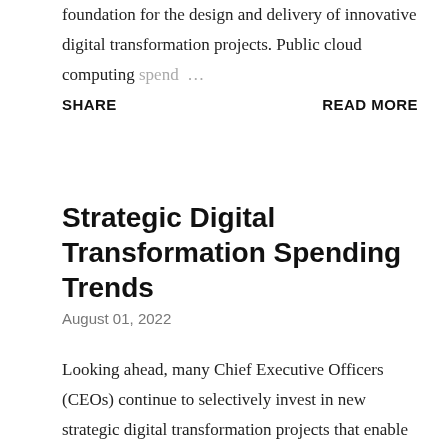foundation for the design and delivery of innovative digital transformation projects. Public cloud computing spend…
SHARE    READ MORE
Strategic Digital Transformation Spending Trends
August 01, 2022
Looking ahead, many Chief Executive Officers (CEOs) continue to selectively invest in new strategic digital transformation projects that enable a significant competitive advantage. Some additional investments ma…